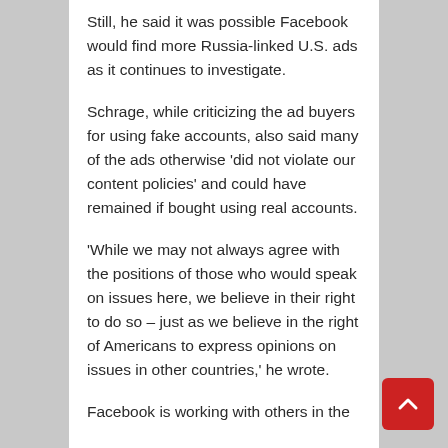Still, he said it was possible Facebook would find more Russia-linked U.S. ads as it continues to investigate.
Schrage, while criticizing the ad buyers for using fake accounts, also said many of the ads otherwise 'did not violate our content policies' and could have remained if bought using real accounts.
'While we may not always agree with the positions of those who would speak on issues here, we believe in their right to do so – just as we believe in the right of Americans to express opinions on issues in other countries,' he wrote.
Facebook is working with others in the